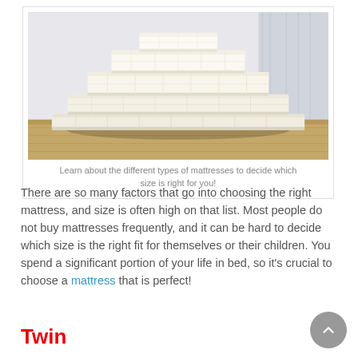[Figure (photo): Stack of mattresses of decreasing sizes arranged in a pyramid/staircase shape, sitting on a wooden floor against a white wall with light curtains.]
Learn about the different types of mattresses to decide which size is right for you!
There are so many factors that go into choosing the right mattress, and size is often high on that list. Most people do not buy mattresses frequently, and it can be hard to decide which size is the right fit for themselves or their children. You spend a significant portion of your life in bed, so it's crucial to choose a mattress that is perfect!
Twin